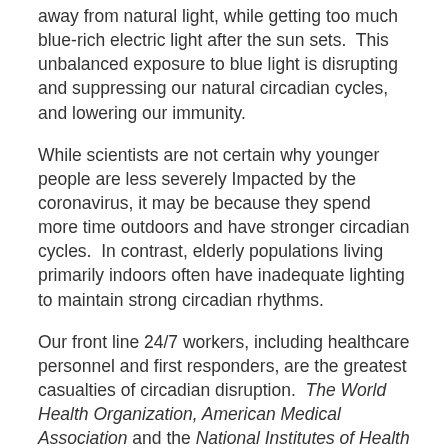away from natural light, while getting too much blue-rich electric light after the sun sets.  This unbalanced exposure to blue light is disrupting and suppressing our natural circadian cycles, and lowering our immunity.
While scientists are not certain why younger people are less severely Impacted by the coronavirus, it may be because they spend more time outdoors and have stronger circadian cycles.  In contrast, elderly populations living primarily indoors often have inadequate lighting to maintain strong circadian rhythms.
Our front line 24/7 workers, including healthcare personnel and first responders, are the greatest casualties of circadian disruption.  The World Health Organization, American Medical Association and the National Institutes of Health have recognized the devastating impact of blue-rich LED and fluorescent light at night on obesity, diabetes, and breast cancer and other hormone-sensitive cancers.
But, today when we are facing more and more new viral